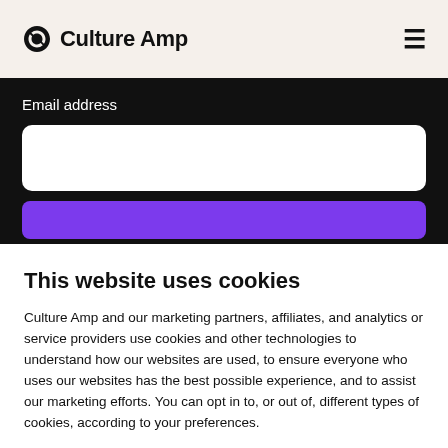[Figure (logo): Culture Amp logo with circular C icon and hamburger menu icon on the right]
Email address
[Figure (screenshot): White email address input field]
[Figure (screenshot): Purple submit button]
This website uses cookies
Culture Amp and our marketing partners, affiliates, and analytics or service providers use cookies and other technologies to understand how our websites are used, to ensure everyone who uses our websites has the best possible experience, and to assist our marketing efforts. You can opt in to, or out of, different types of cookies, according to your preferences.
Accept all cookies
Manage preferences